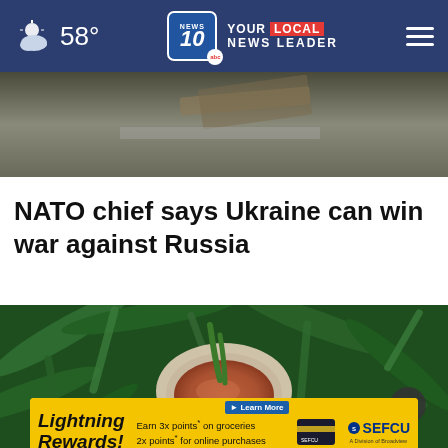58° NEWS 10 ABC YOUR LOCAL NEWS LEADER
[Figure (photo): Top portion of article image showing a flat surface with papers/debris]
NATO chief says Ukraine can win war against Russia
[Figure (photo): Overhead view of a bowl of tea/liquid surrounded by green leaves/herbs]
[Figure (other): Lightning Rewards advertisement banner - Earn 3x points on groceries, 2x points for online purchases, 1x points for everything else - SEFCU A Division of Broadview]